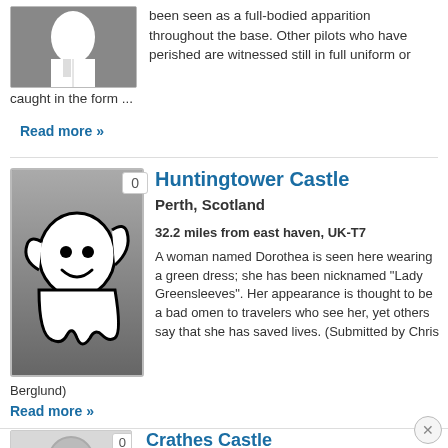[Figure (illustration): Ghost illustration on dark gray background, partial top view]
been seen as a full-bodied apparition throughout the base. Other pilots who have perished are witnessed still in full uniform or caught in the form ...
Read more »
Huntingtower Castle
Perth, Scotland
32.2 miles from east haven, UK-T7
A woman named Dorothea is seen here wearing a green dress; she has been nicknamed "Lady Greensleeves". Her appearance is thought to be a bad omen to travelers who see her, yet others say that she has saved lives. (Submitted by Chris Berglund)
[Figure (illustration): Ghost cartoon illustration - white friendly ghost on dark gray background with vote badge showing 0]
Read more »
Crathes Castle
east haven, Aberdeenshire